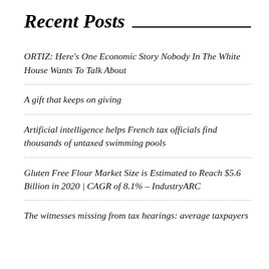Recent Posts
ORTIZ: Here’s One Economic Story Nobody In The White House Wants To Talk About
A gift that keeps on giving
Artificial intelligence helps French tax officials find thousands of untaxed swimming pools
Gluten Free Flour Market Size is Estimated to Reach $5.6 Billion in 2020 | CAGR of 8.1% – IndustryARC
The witnesses missing from tax hearings: average taxpayers